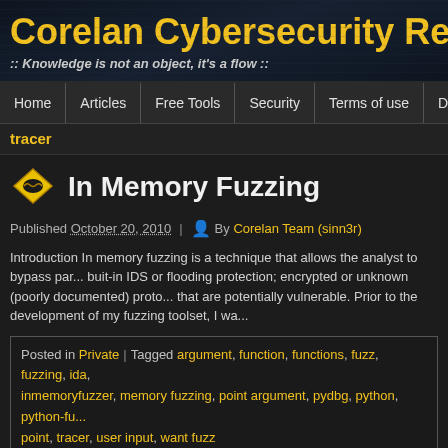Corelan Cybersecurity Resea...
:: Knowledge is not an object, it's a flow ::
Home | Articles | Free Tools | Security | Terms of use | Donate
tracer
In Memory Fuzzing
Published October 20, 2010 | By Corelan Team (sinn3r)
Introduction In memory fuzzing is a technique that allows the analyst to bypass pa... buit-in IDS or flooding protection; encrypted or unknown (poorly documented) proto... that are potentially vulnerable. Prior to the development of my fuzzing toolset, I wa...
Posted in Private | Tagged argument, function, functions, fuzz, fuzzing, ida, inmemoryfuzzer, memory fuzzing, point argument, pydbg, python, python-fu... point, tracer, user input, want fuzz